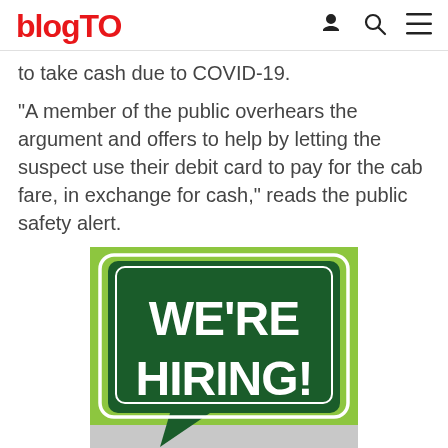blogTO
to take cash due to COVID-19.
"A member of the public overhears the argument and offers to help by letting the suspect use their debit card to pay for the cab fare, in exchange for cash," reads the public safety alert.
[Figure (illustration): Green speech bubble / banner graphic with white bold text reading WE’RE HIRING! on a light green background]